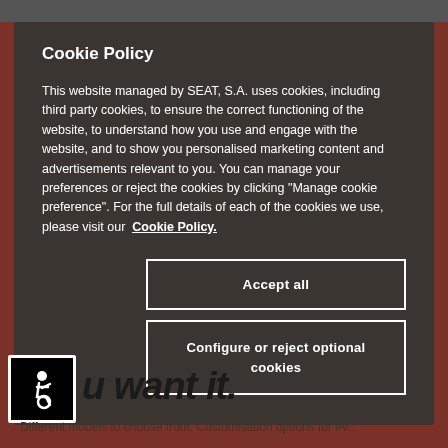Cookie Policy
This website managed by SEAT, S.A. uses cookies, including third party cookies, to ensure the correct functioning of the website, to understand how you use and engage with the website, and to show you personalised marketing content and advertisements relevant to you. You can manage your preferences or reject the cookies by clicking "Manage cookie preference". For the full details of each of the cookies we use, please visit our Cookie Policy.
Accept all
Configure or reject optional cookies
[Figure (logo): Accessibility icon - white wheelchair user symbol on black background with white border]
u want it.
Different models to choose from. Customisation options for ev...